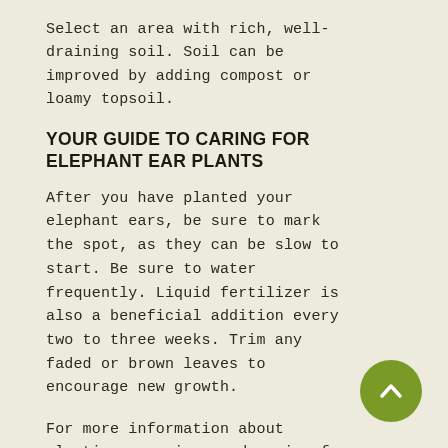Select an area with rich, well-draining soil. Soil can be improved by adding compost or loamy topsoil.
YOUR GUIDE TO CARING FOR ELEPHANT EAR PLANTS
After you have planted your elephant ears, be sure to mark the spot, as they can be slow to start. Be sure to water frequently. Liquid fertilizer is also a beneficial addition every two to three weeks. Trim any faded or brown leaves to encourage new growth.
For more information about planting, growing, and caring for elephant ear bulbs, see the Elephant Ear Bulbs Planting Guide.
[Figure (other): Back to top button — olive green circular button with upward-pointing chevron/arrow icon]